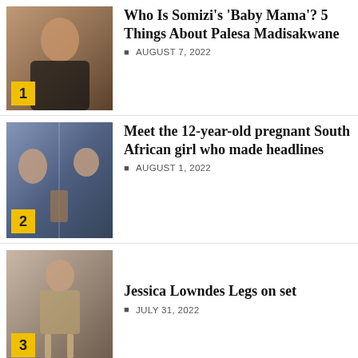[Figure (photo): Photo of a woman in a black top, article 1 thumbnail]
Who Is Somizi's 'Baby Mama'? 5 Things About Palesa Madisakwane
AUGUST 7, 2022
[Figure (photo): Collage of a young pregnant girl, article 2 thumbnail]
Meet the 12-year-old pregnant South African girl who made headlines
AUGUST 1, 2022
[Figure (photo): Photo of woman in silver dress, article 3 thumbnail]
Jessica Lowndes Legs on set
JULY 31, 2022